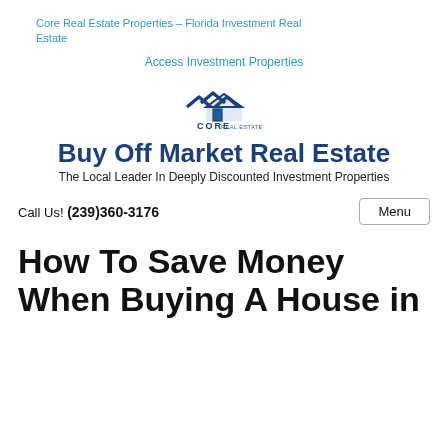Core Real Estate Properties – Florida Investment Real Estate
Access Investment Properties
[Figure (logo): Core Real Estate Properties logo with house/roof icon above the CORE REAL ESTATE PROPERTIES text]
Buy Off Market Real Estate
The Local Leader In Deeply Discounted Investment Properties
Call Us! (239)360-3176
Menu
How To Save Money When Buying A House in